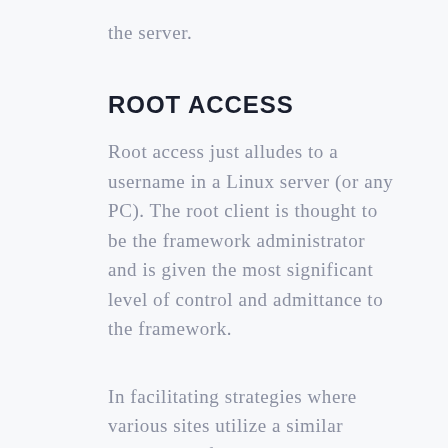the server.
ROOT ACCESS
Root access just alludes to a username in a Linux server (or any PC). The root client is thought to be the framework administrator and is given the most significant level of control and admittance to the framework.
In facilitating strategies where various sites utilize a similar server, web facilitating organizations frequently